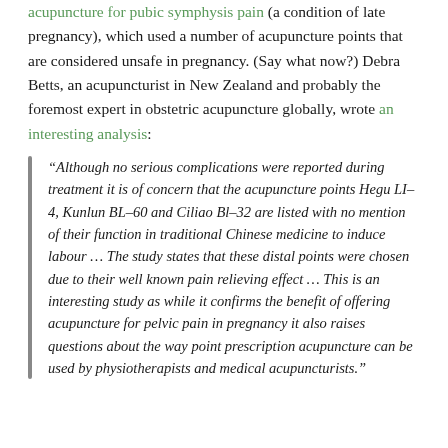acupuncture for pubic symphysis pain (a condition of late pregnancy), which used a number of acupuncture points that are considered unsafe in pregnancy. (Say what now?) Debra Betts, an acupuncturist in New Zealand and probably the foremost expert in obstetric acupuncture globally, wrote an interesting analysis:
“Although no serious complications were reported during treatment it is of concern that the acupuncture points Hegu LI-4, Kunlun BL-60 and Ciliao Bl-32 are listed with no mention of their function in traditional Chinese medicine to induce labour … The study states that these distal points were chosen due to their well known pain relieving effect … This is an interesting study as while it confirms the benefit of offering acupuncture for pelvic pain in pregnancy it also raises questions about the way point prescription acupuncture can be used by physiotherapists and medical acupuncturists.”